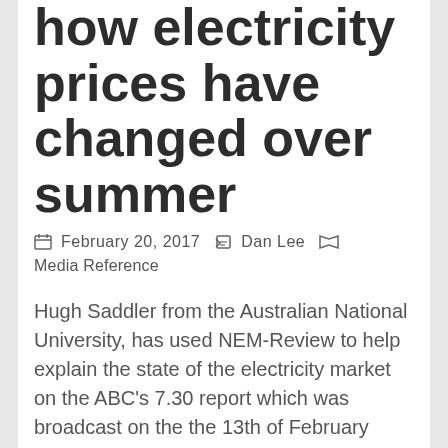how electricity prices have changed over summer
February 20, 2017   Dan Lee   Media Reference
Hugh Saddler from the Australian National University, has used NEM-Review to help explain the state of the electricity market on the ABC's 7.30 report which was broadcast on the the 13th of February 2017. In the report, several industry experts...
Read More →